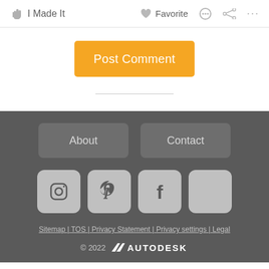✋ I Made It   ♥ Favorite  💬  ⋮  ···
[Figure (screenshot): Orange 'Post Comment' button centered on white background]
[Figure (screenshot): Website footer with dark gray background containing About and Contact buttons, Instagram/Pinterest/Facebook/Twitter social icons, footer links (Sitemap, TOS, Privacy Statement, Privacy settings, Legal), and copyright 2022 Autodesk logo]